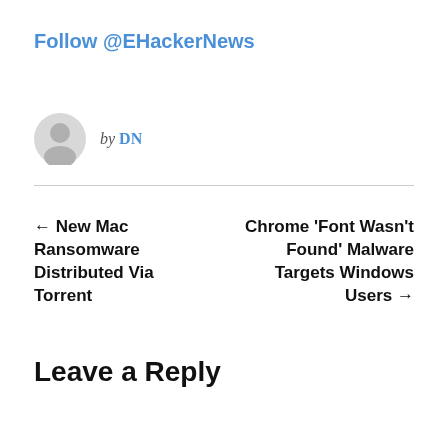Follow @EHackerNews
by DN
← New Mac Ransomware Distributed Via Torrent
Chrome 'Font Wasn't Found' Malware Targets Windows Users →
Leave a Reply